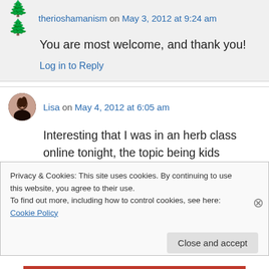therioshamanism on May 3, 2012 at 9:24 am
You are most welcome, and thank you!
Log in to Reply
Lisa on May 4, 2012 at 6:05 am
Interesting that I was in an herb class online tonight, the topic being kids outdoors – and you know this subject came up! 🙂 This is one of the
Privacy & Cookies: This site uses cookies. By continuing to use this website, you agree to their use.
To find out more, including how to control cookies, see here: Cookie Policy
Close and accept